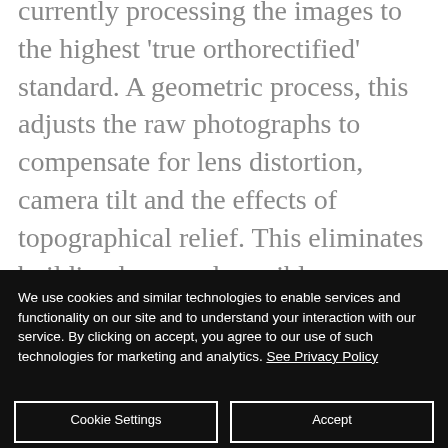currently processing the images to the highest 'true orthorectified' standard. A geometric process, this adjusts the raw photographs to compensate for lens distortion, camera tilt and the effects of topographical relief. This eliminates building lean, and possible obscuration of detail within the images, and any displacement of features within the imagery.
We use cookies and similar technologies to enable services and functionality on our site and to understand your interaction with our service. By clicking on accept, you agree to our use of such technologies for marketing and analytics. See Privacy Policy
Cookie Settings
Accept